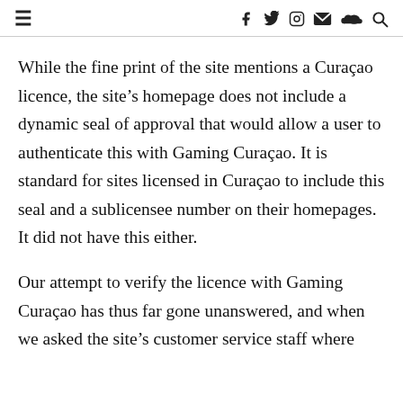≡  f  y  [instagram]  [mail]  [soundcloud]  [search]
While the fine print of the site mentions a Curaçao licence, the site's homepage does not include a dynamic seal of approval that would allow a user to authenticate this with Gaming Curaçao. It is standard for sites licensed in Curaçao to include this seal and a sublicensee number on their homepages. It did not have this either.
Our attempt to verify the licence with Gaming Curaçao has thus far gone unanswered, and when we asked the site's customer service staff where